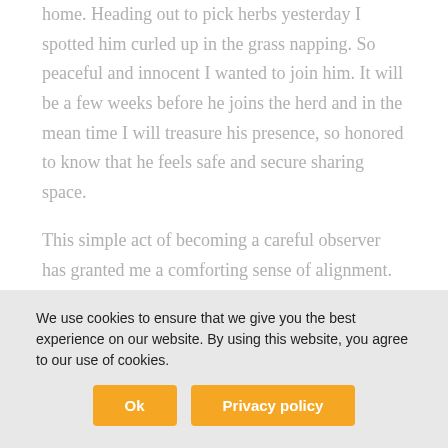home. Heading out to pick herbs yesterday I spotted him curled up in the grass napping. So peaceful and innocent I wanted to join him. It will be a few weeks before he joins the herd and in the mean time I will treasure his presence, so honored to know that he feels safe and secure sharing space.

This simple act of becoming a careful observer has granted me a comforting sense of alignment. Co-residing with this herd that lives in balance with nature reminds me that I can choose to do that as well. That sounds in
We use cookies to ensure that we give you the best experience on our website. By using this website, you agree to our use of cookies.